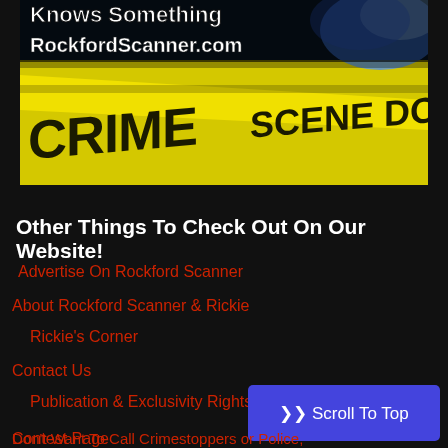[Figure (illustration): Rockford Scanner crime scene banner showing yellow crime scene tape with 'CRIME SCENE DO NOT' text, blue police lights in background. Text overlay reads 'Knows Something RockfordScanner.com']
Other Things To Check Out On Our Website!
Advertise On Rockford Scanner
About Rockford Scanner & Rickie
Rickie's Corner
Contact Us
Publication & Exclusivity Rights
Contest Page
Don't Want To Call Crimestoppers or Police, Send Us Your Tips And We Will Pass It Anonymously